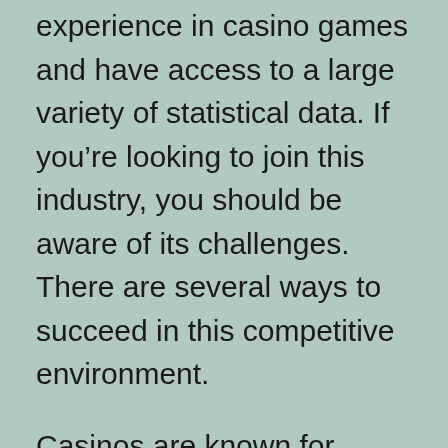experience in casino games and have access to a large variety of statistical data. If you're looking to join this industry, you should be aware of its challenges. There are several ways to succeed in this competitive environment.
Casinos are known for being safe places to play. The most important rule of the casino is to keep your personal electronics out of the way. Using cell phones is a great way to get the edge over your opponents. By avoiding personal electronics while playing, you'll be able to focus on the game without distracting